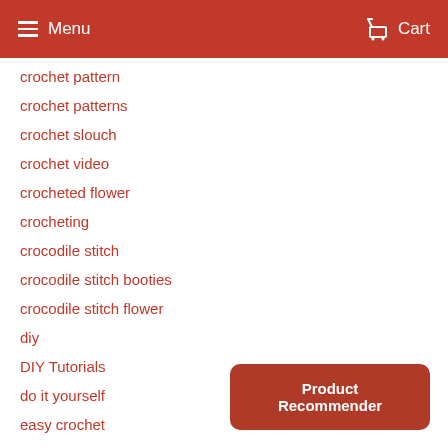Menu  Cart
crochet pattern
crochet patterns
crochet slouch
crochet video
crocheted flower
crocheting
crocodile stitch
crocodile stitch booties
crocodile stitch flower
diy
DIY Tutorials
do it yourself
easy crochet
fluffy pom poms
free crochet pattern
free pattern
Free Patterns
Product Recommender